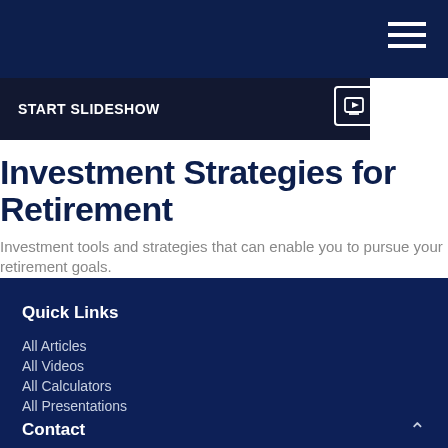[Figure (screenshot): Dark navy top navigation bar with hamburger menu icon (three white horizontal lines) on the right side]
START SLIDESHOW
Investment Strategies for Retirement
Investment tools and strategies that can enable you to pursue your retirement goals.
Quick Links
All Articles
All Videos
All Calculators
All Presentations
Contact